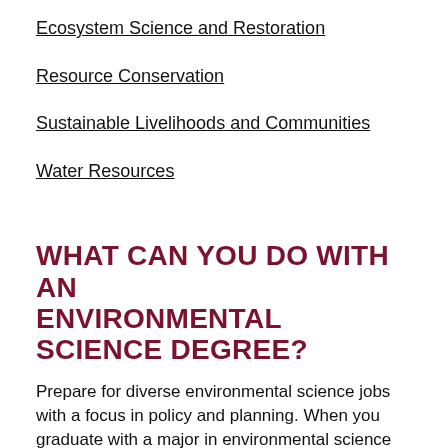Ecosystem Science and Restoration
Resource Conservation
Sustainable Livelihoods and Communities
Water Resources
WHAT CAN YOU DO WITH AN ENVIRONMENTAL SCIENCE DEGREE?
Prepare for diverse environmental science jobs with a focus in policy and planning. When you graduate with a major in environmental science and sustainability from UM, you can look to the future with confidence: 97% of Franke College of Forestry and Conservation graduates are